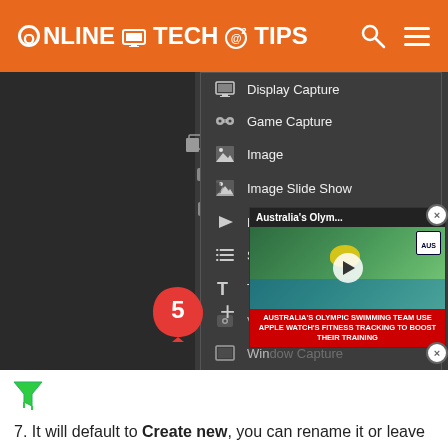ONLINE TECH TIPS
[Figure (screenshot): OBS Studio context menu showing source options: Display Capture, Game Capture, Image, Image Slide Show, Media Source, Scene, Text (GDI+), Vid... (Video Capture Device), Win... (Window Capture), Gro... (Group), Dep... A red badge with number 5 points to the + button at bottom. An overlaid video player shows 'Australia's Olym...' swimming video with caption 'AUSTRALIA'S OLYMPIC SWIMMING TEAM USE APPLE WATCH'S FITNESS TRACKING TO BOOST THEIR TRAINING'. A green filter/funnel icon appears at bottom left.]
7. It will default to Create new, you can rename it or leave
[Figure (other): Disney Bundle advertisement banner: hulu, Disney+, ESPN+ with 'GET THE DISNEY BUNDLE' call to action. 'Incl. Hulu (ad-supported) or Hulu (No Ads). Access content from each service separately. ©2021 Disney and its related entities']